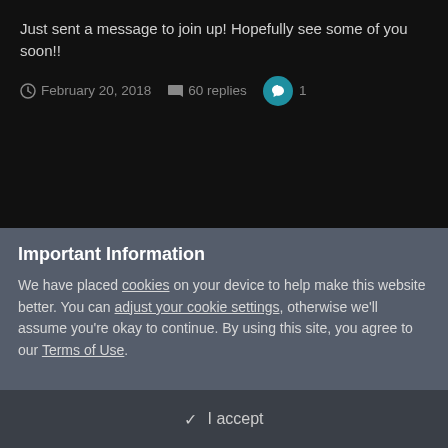Just sent a message to join up! Hopefully see some of you soon!!
February 20, 2018  60 replies  1
[Figure (photo): User avatar showing a cartoon/illustrated face]
Northampton
Errol replied to Pig's topic in East Midlands Stargazers"s
Important Information
We have placed cookies on your device to help make this website better. You can adjust your cookie settings, otherwise we'll assume you're okay to continue. By using this site, you agree to our Terms of Use.
✓  I accept